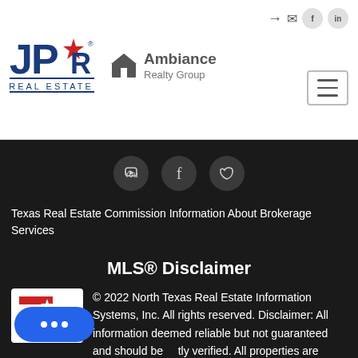[Figure (logo): JPAR Real Estate logo — blue stylized letters JP with a star, text REAL ESTATE below]
[Figure (logo): Ambiance Realty Group logo — house icon with text Ambiance Realty Group]
[Figure (other): Social media icon circles: YouTube, Facebook, Twitter on dark background]
Texas Real Estate Commission Information About Brokerage Services
MLS® Disclaimer
[Figure (logo): NTREIS logo — North Texas Real Estate Information Systems]
© 2022 North Texas Real Estate Information Systems, Inc. All rights reserved. Disclaimer: All information deemed reliable but not guaranteed and should be independently verified. All properties are subject to prior sale, change or withdrawal. Neither listing broker(s) nor
[Figure (other): Blue chat button with three dots]